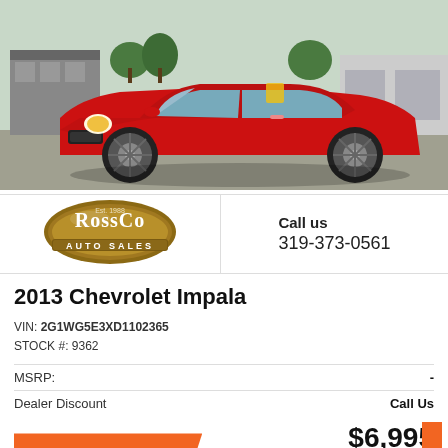[Figure (photo): Red 2013 Chevrolet Impala sedan parked in a dealership lot, front three-quarter view, with dealership building in background.]
[Figure (logo): RossCo Auto Sales logo — oval brown/tan badge with RossCo text and AUTO SALES below.]
Call us
319-373-0561
2013 Chevrolet Impala
VIN: 2G1WG5E3XD1102365
STOCK #: 9362
MSRP:	-
Dealer Discount	Call Us
CLICK HERE
$6,995